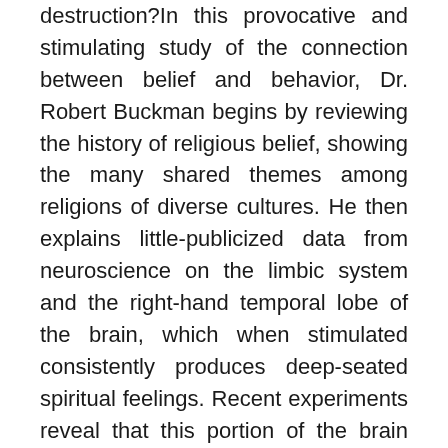destruction?In this provocative and stimulating study of the connection between belief and behavior, Dr. Robert Buckman begins by reviewing the history of religious belief, showing the many shared themes among religions of diverse cultures. He then explains little-publicized data from neuroscience on the limbic system and the right-hand temporal lobe of the brain, which when stimulated consistently produces deep-seated spiritual feelings. Recent experiments reveal that this portion of the brain may underlie the development of many common religious beliefs, and perhaps the more aggressive and destructive behaviors associated with some of them. Buckman also summarizes evidence regarding pheromones and their effect on the limbic system, as a possible mechanism for certain types of crowd behavior, whether in a